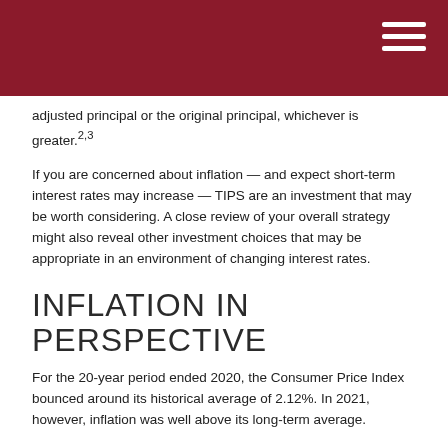adjusted principal or the original principal, whichever is greater.2,3
If you are concerned about inflation — and expect short-term interest rates may increase — TIPS are an investment that may be worth considering. A close review of your overall strategy might also reveal other investment choices that may be appropriate in an environment of changing interest rates.
INFLATION IN PERSPECTIVE
For the 20-year period ended 2020, the Consumer Price Index bounced around its historical average of 2.12%. In 2021, however, inflation was well above its long-term average.